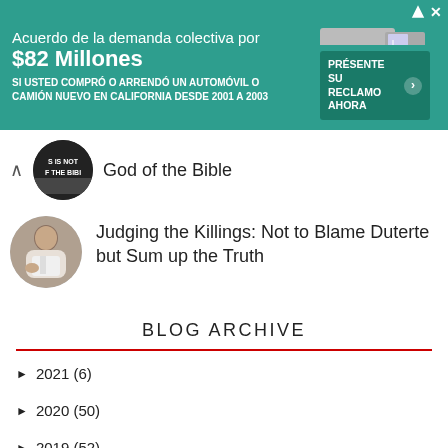[Figure (other): Advertisement banner in teal/green background. Spanish text: 'Acuerdo de la demanda colectiva por $82 Millones. SI USTED COMPRÓ O ARRENDÓ UN AUTOMÓVIL O CAMIÓN NUEVO EN CALIFORNIA DESDE 2001 A 2003'. Right side shows truck image and green button 'PRÉSENTE SU RECLAMO AHORA']
God of the Bible
Judging the Killings: Not to Blame Duterte but Sum up the Truth
BLOG ARCHIVE
► 2021 (6)
► 2020 (50)
► 2019 (52)